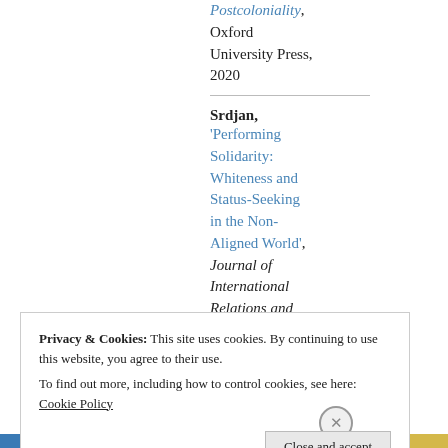Postcoloniality, Oxford University Press, 2020
Srdjan, 'Performing Solidarity: Whiteness and Status-Seeking in the Non-Aligned World', Journal of International Relations and Development,
Privacy & Cookies: This site uses cookies. By continuing to use this website, you agree to their use. To find out more, including how to control cookies, see here: Cookie Policy
Close and accept